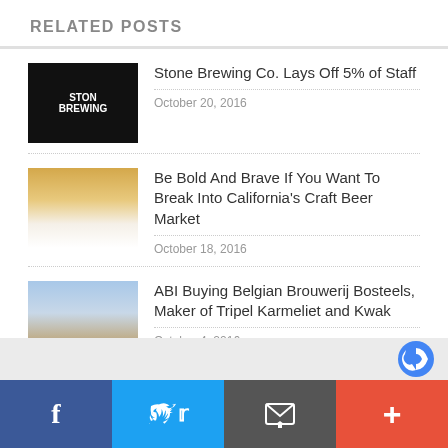RELATED POSTS
Stone Brewing Co. Lays Off 5% of Staff — October 20, 2016
Be Bold And Brave If You Want To Break Into California's Craft Beer Market — October 18, 2016
ABI Buying Belgian Brouwerij Bosteels, Maker of Tripel Karmeliet and Kwak — October 4, 2016
The 30 Best Baseball Stadiums for Craft Beer Fans — September 20, 2016